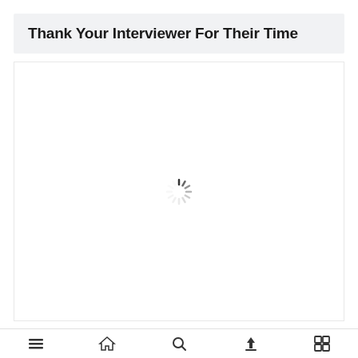Thank Your Interviewer For Their Time
[Figure (screenshot): White content area with a loading spinner (circular spinner icon) centered in the middle, indicating content is loading.]
Navigation bar with icons: menu, home, search, upload, grid